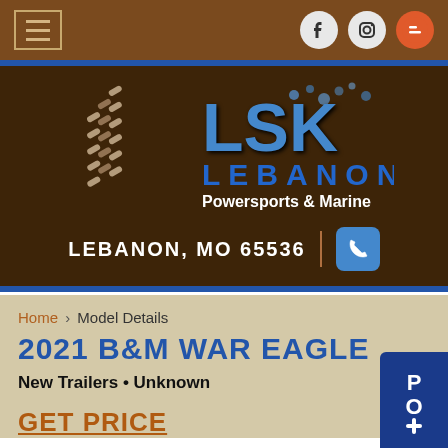[Figure (logo): LSK Lebanon Powersports & Marine logo with tire track and water splash graphics]
LEBANON, MO 65536
Home › Model Details
2021 B&M WAR EAGLE
New Trailers • Unknown
GET PRICE